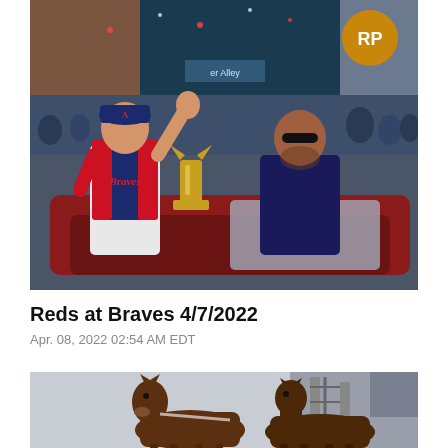[Figure (photo): Atlanta Braves manager waving in a parade vehicle wearing Braves uniform, holding World Series trophy, alongside another man in navy pullover. Crowd visible in background with confetti.]
Reds at Braves 4/7/2022
Apr. 08, 2022 02:54 AM EDT
[Figure (photo): Clydesdale horses at a baseball stadium with stadium structure visible in the background against a cloudy sky.]